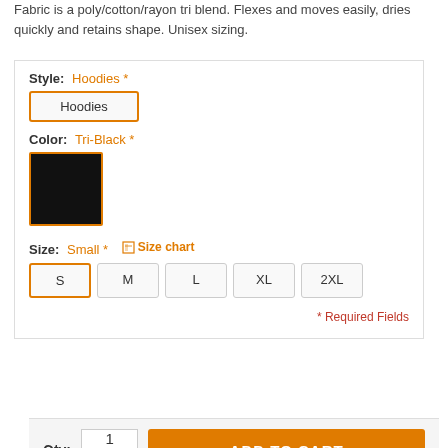Fabric is a poly/cotton/rayon tri blend. Flexes and moves easily, dries quickly and retains shape. Unisex sizing.
Style: Hoodies *
Hoodies
Color: Tri-Black *
Size: Small * Size chart
S  M  L  XL  2XL
* Required Fields
Qty: 1
ADD TO CART
Add to your Wishlist